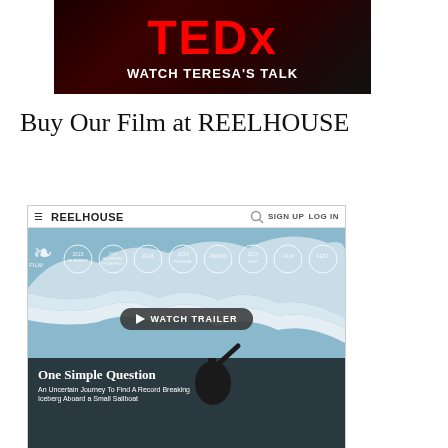[Figure (screenshot): TEDx banner with red TEDx text and 'WATCH TERESA'S TALK' subtitle on dark red/black background]
Buy Our Film at REELHOUSE
[Figure (screenshot): Screenshot of REELHOUSE website showing film 'One Simple Question' with navigation bar, film laurels, watch trailer button, and hero image of person near iceberg]